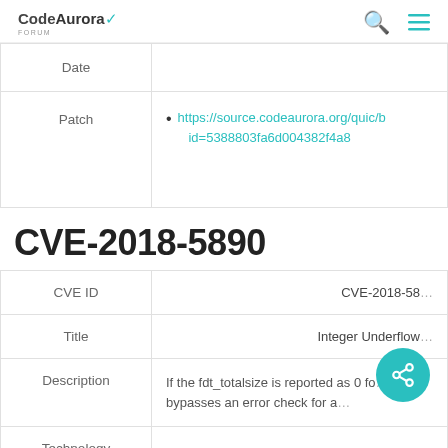CodeAurora Forum
| Date |  |
| --- | --- |
| Date |  |
| Patch | https://source.codeaurora.org/quic/... id=5388803fa6d004382f4a8... |
CVE-2018-5890
| Field | Value |
| --- | --- |
| CVE ID | CVE-2018-5890 |
| Title | Integer Underflow |
| Description | If the fdt_totalsize is reported as 0 fo... bypasses an error check for a... |
| Technology Area | boot |